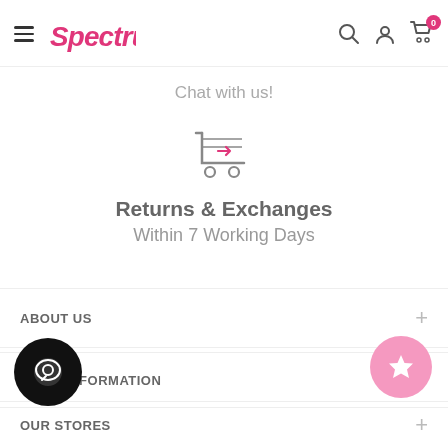Spectrum (logo) — navigation bar with hamburger menu, search, account, cart (0)
Chat with us!
[Figure (illustration): Shopping cart icon with a return arrow, drawn in pink and gray outline style]
Returns & Exchanges
Within 7 Working Days
ABOUT US
MORE INFORMATION
OUR STORES